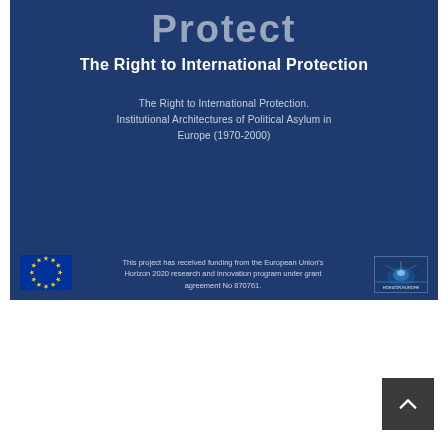Protect
The Right to International Protection
The Right to International Protection. Institutional Architectures of Political Asylum in Europe (1970-2000)
This project has received funding from the European Union's Horizon 2020 research and innovation program under grant agreement No 870761.
[Figure (logo): European Union flag with yellow stars on blue background]
[Figure (logo): Horizon 2020 / European project logo with globe/light imagery]